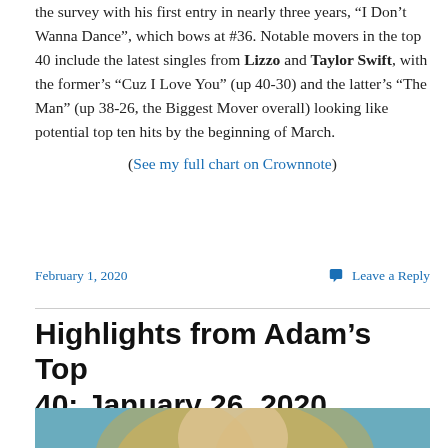the survey with his first entry in nearly three years, “I Don’t Wanna Dance”, which bows at #36. Notable movers in the top 40 include the latest singles from Lizzo and Taylor Swift, with the former’s “Cuz I Love You” (up 40-30) and the latter’s “The Man” (up 38-26, the Biggest Mover overall) looking like potential top ten hits by the beginning of March.
(See my full chart on Crownnote)
February 1, 2020
Leave a Reply
Highlights from Adam’s Top 40: January 26, 2020
[Figure (photo): Partial photo of a person with blonde hair, cropped at bottom of page]